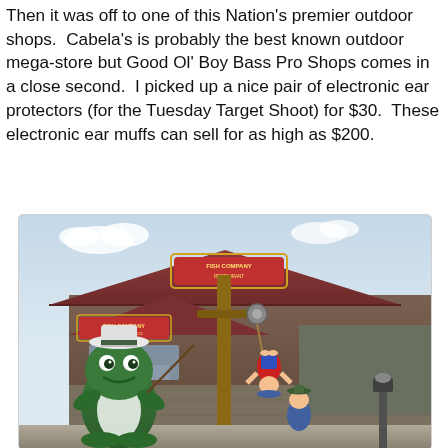Then it was off to one of this Nation's premier outdoor shops.  Cabela's is probably the best known outdoor mega-store but Good Ol' Boy Bass Pro Shops comes in a close second.  I picked up a nice pair of electronic ear protectors (for the Tuesday Target Shoot) for $30.  These electronic ear muffs can sell for as high as $200.
[Figure (photo): Exterior photo of Bass Pro Shops (Fish Company) store with cartoon frog mascot statue and other decorative figurines including a character hanging upside-down from a wooden post, in front of the rustic log-cabin style store facade with red signage.]